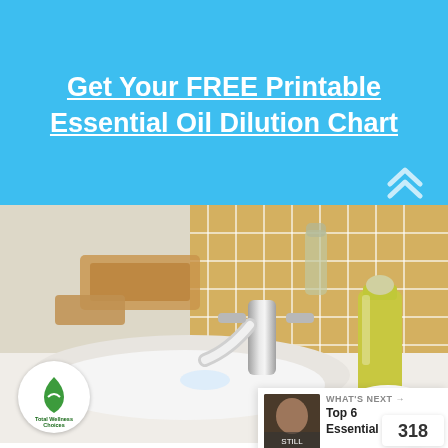Get Your FREE Printable Essential Oil Dilution Chart
[Figure (photo): Bathroom sink with chrome faucet, green/yellow lotion bottle, cotton pads, wooden tray, and gold/tan tile background. Total Wellness Choices logo in bottom left corner.]
Calendula Soap Nuts Face Wash
Read more
318
WHAT'S NEXT → Top 6 Essential Oil...